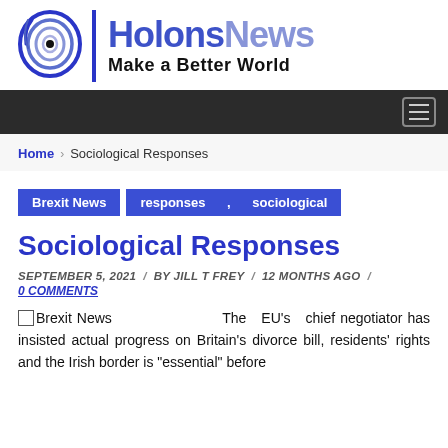[Figure (logo): HolonsNews logo with spiral eye icon, vertical divider, and tagline 'Make a Better World']
Navigation bar with hamburger menu icon
Home > Sociological Responses
Brexit News   responses , sociological
Sociological Responses
SEPTEMBER 5, 2021 / BY JILL T FREY / 12 MONTHS AGO /
0 COMMENTS
Brexit News   The EU's chief negotiator has insisted actual progress on Britain's divorce bill, residents' rights and the Irish border is "essential" before